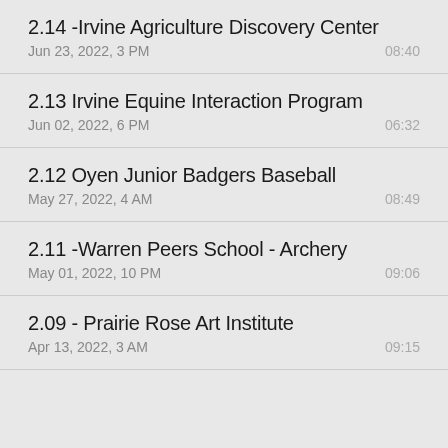2.14 -Irvine Agriculture Discovery Center
Jun 23, 2022, 3 PM	08:40
2.13 Irvine Equine Interaction Program
Jun 02, 2022, 6 PM	06:32
2.12 Oyen Junior Badgers Baseball
May 27, 2022, 4 AM	08:49
2.11 -Warren Peers School - Archery
May 01, 2022, 10 PM	09:06
2.09 - Prairie Rose Art Institute
Apr 13, 2022, 3 AM	09:15